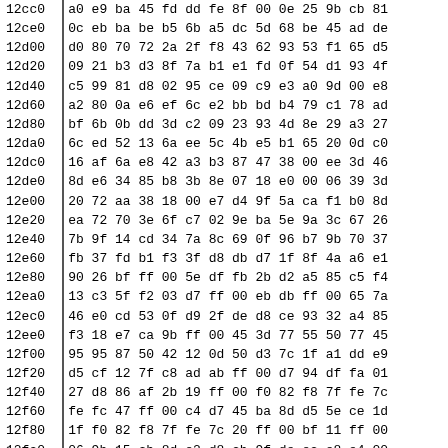| Address | Data (hex bytes) |
| --- | --- |
| 12cc0 | a0 e9 ba 45 fd dd fe 8f 00 0e 25 9b cb 81 |
| 12ce0 | 0c eb ba be b5 6b a5 dc 5d 68 be 45 ad de |
| 12d00 | d0 80 70 72 2a 2f f8 43 62 93 53 f1 65 d5 |
| 12d20 | 09 21 b3 d3 8f 7a b1 e1 fd 0f 54 d1 93 4f |
| 12d40 | c5 99 81 d8 02 95 ce 09 c9 e3 a0 9d 00 e8 |
| 12d60 | a2 80 0a e6 ef 6c e2 bb bd b4 79 c1 78 ad |
| 12d80 | bf 6b 0b dd 3d c2 09 23 93 4d 8e 29 a3 27 |
| 12da0 | 6c ed 52 13 6a ee 5c 4b e5 b1 65 20 0d c0 |
| 12dc0 | 16 af 6a e8 42 a3 b3 87 47 38 00 ee 3d 46 |
| 12de0 | 8d e6 34 85 b8 3b 8e 07 18 e0 00 06 39 3d |
| 12e00 | 20 72 aa 38 18 00 e7 d4 9f 5a ca f1 b0 8d |
| 12e20 | ea 72 70 3e 6f c7 02 9e ba 5e 9a 3c 67 26 |
| 12e40 | 7b 9f 14 cd 34 7a 8c 69 0f 96 b7 9b 70 37 |
| 12e60 | fb 37 fd b1 f3 3f d8 db d7 1f 8f 4a a6 e1 |
| 12e80 | 90 26 bf ff 00 5e df fb 2b d2 a5 85 c5 f4 |
| 12ea0 | 13 c3 5f f2 03 d7 ff 00 eb db ff 00 65 7a |
| 12ec0 | 46 e0 cd 53 0f d9 2f de d8 ce 93 32 a4 85 |
| 12ee0 | f3 18 e7 ca 9b ff 00 45 3d 77 55 50 77 45 |
| 12f00 | 95 95 87 50 42 12 0d 50 d3 7c 1f a1 dd e9 |
| 12f20 | d5 cf 12 7f c8 ad ab ff 00 d7 94 df fa 01 |
| 12f40 | 27 d8 86 af 2b 19 ff 00 f0 82 f8 7f fe 7c |
| 12f60 | fe fc 47 ff 00 c4 d7 45 ba 8d d5 5e ce 1d |
| 12f80 | 1f f0 82 f8 7f fe 7c 20 ff 00 bf 11 ff 00 |
| 12fa0 | 06 9b 15 cb 8d e2 d8 cb 9f de ec e8 e4 00 |
| 12fc0 | 7d 49 ef 9e 1f 0f cd ac d9 5f 4b 14 6b 2c |
| 12fe0 | 3d 83 95 1d 47 fc 20 be 1f ff 00 9f 08 3f |
| 13000 | 00 f1 35 cf fc 3b f1 16 b5 e3 4b 2b 2d 66 |
| 13020 | 00 f9 48 1b 3b 51 70 c7 3b 8e 14 85 3e 85 |
| 13040 | fe fc 47 ff 00 c4 d1 ff 00 08 2f 87 ff 00 |
| 13060 | 88 e2 ec 74 fb 5d 23 c6 4d 67 63 12 c3 0b |
| 13080 | 08 cc 7a 08 b7 5d 78 4b 55 08 c4 1 41 5b |